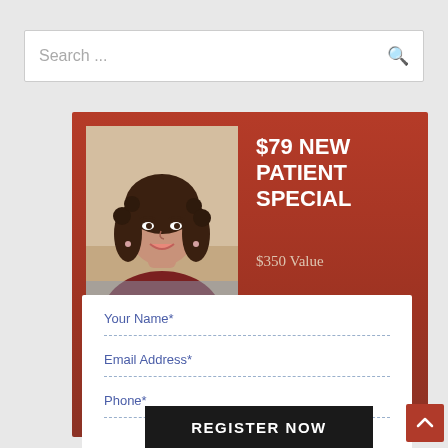Search ...
[Figure (photo): Portrait photo of a smiling woman with curly dark hair, wearing a dark red top, against a light background]
$79 NEW PATIENT SPECIAL
$350 Value
Your Name*
Email Address*
Phone*
REGISTER NOW